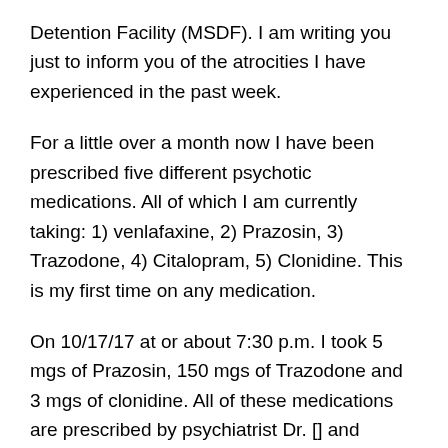Detention Facility (MSDF). I am writing you just to inform you of the atrocities I have experienced in the past week.
For a little over a month now I have been prescribed five different psychotic medications. All of which I am currently taking: 1) venlafaxine, 2) Prazosin, 3) Trazodone, 4) Citalopram, 5) Clonidine. This is my first time on any medication.
On 10/17/17 at or about 7:30 p.m. I took 5 mgs of Prazosin, 150 mgs of Trazodone and 3 mgs of clonidine. All of these medications are prescribed by psychiatrist Dr. [] and dispensed here at MSDF.